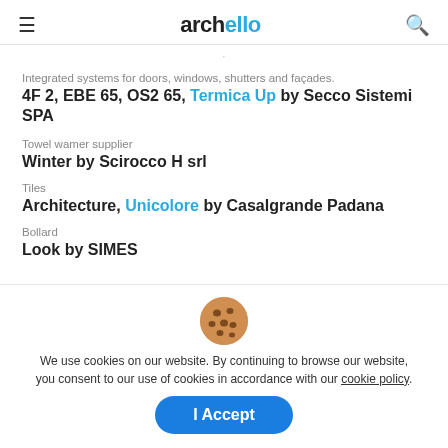archello
Integrated systems for doors, windows, shutters and façades.
4F 2, EBE 65, OS2 65, Termica Up by Secco Sistemi SPA
Towel wamer supplier
Winter by Scirocco H srl
Tiles
Architecture, Unicolore by Casalgrande Padana
Bollard
Look by SIMES
[Figure (illustration): Cookie emoji icon - round brown cookie with chocolate chips]
We use cookies on our website. By continuing to browse our website, you consent to our use of cookies in accordance with our cookie policy.
I Accept